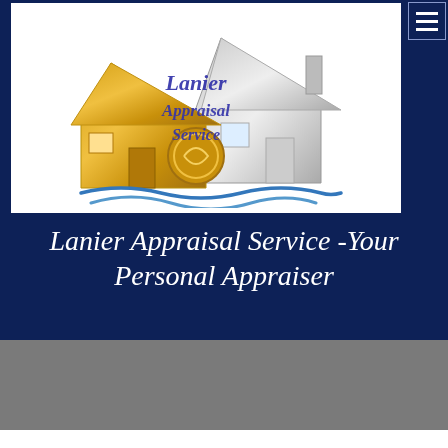[Figure (logo): Lanier Appraisal Service logo featuring a gold house and a silver/gray house overlapping, with cursive text reading 'Lanier Appraisal Service' in blue/purple, and blue wave design at the bottom]
Lanier Appraisal Service -Your Personal Appraiser